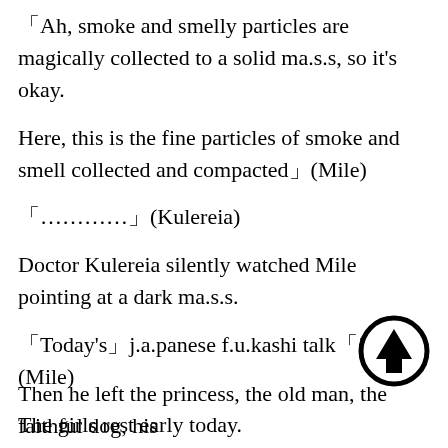「Ah, smoke and smelly particles are magically collected to a solid ma.s.s, so it’s okay.
Here, this is the fine particles of smoke and smell collected and compacted」(Mile)
「……………」(Kulereia)
Doctor Kulereia silently watched Mile pointing at a dark ma.s.s.
「Today’s」j.a.panese f.u.kashi talk「!」(Mile)
The girls rest early today.
「And the thief defeated the bad Earl.
[Figure (illustration): Upward arrow circle icon]
Then he left the princess, the old man, the faithful dog, his